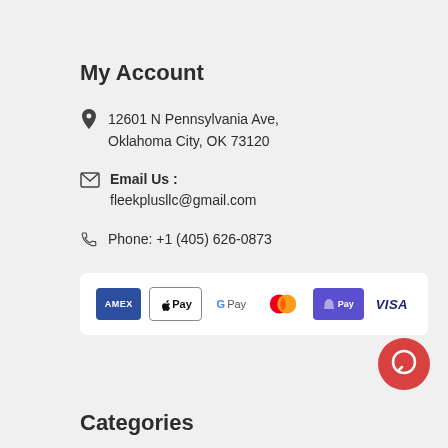My Account
📍 12601 N Pennsylvania Ave, Oklahoma City, OK 73120
✉ Email Us : fleekplusllc@gmail.com
📞 Phone: +1 (405) 626-0873
[Figure (other): Payment method logos: American Express, Apple Pay, Google Pay, Mastercard, Shopify Pay, Visa]
[Figure (other): Red circular chat button with white chat bubble icon]
Categories